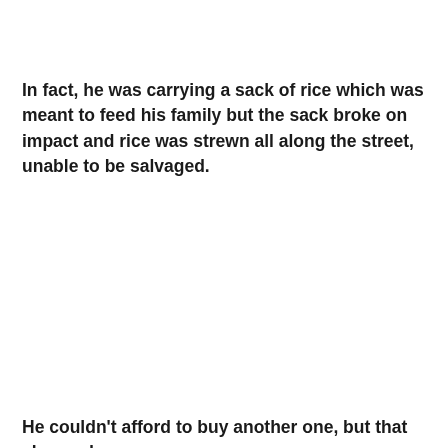In fact, he was carrying a sack of rice which was meant to feed his family but the sack broke on impact and rice was strewn all along the street, unable to be salvaged.
He couldn't afford to buy another one, but that changed...